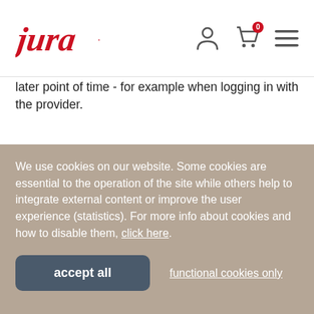Jura website header with logo and navigation icons
later point of time - for example when logging in with the provider.
If you do not wish the assignment to you profile with the plug-in provider, you need to log out from the respective service before you visit our Internet site. In addition, you
We use cookies on our website. Some cookies are essential to the operation of the site while others help to integrate external content or improve the user experience (statistics). For more info about cookies and how to disable them, click here.
accept all
functional cookies only